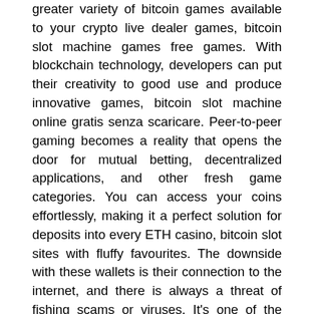greater variety of bitcoin games available to your crypto live dealer games, bitcoin slot machine games free games. With blockchain technology, developers can put their creativity to good use and produce innovative games, bitcoin slot machine online gratis senza scaricare. Peer-to-peer gaming becomes a reality that opens the door for mutual betting, decentralized applications, and other fresh game categories. You can access your coins effortlessly, making it a perfect solution for deposits into every ETH casino, bitcoin slot sites with fluffy favourites. The downside with these wallets is their connection to the internet, and there is always a threat of fishing scams or viruses. It's one of the traits that users value the most in the coin, and is a major part of it's success, bitcoin slot machine features. Although, perhaps the most important characteristic of Bitcoin is decentralization. Precis som Bitcoin har dessa kryptovalutor ett eget varde, men oftast brukar det lagsta insattningsbeloppet for dessa vara 0, bitcoin slot machine re mida online gratis. Kolla garna